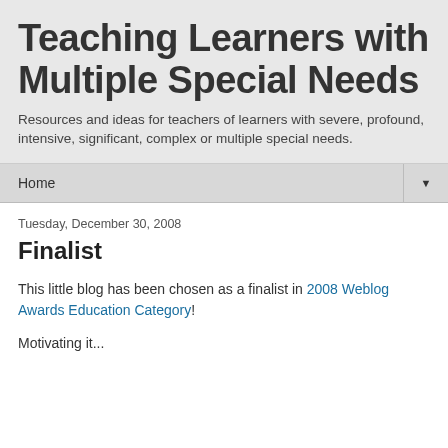Teaching Learners with Multiple Special Needs
Resources and ideas for teachers of learners with severe, profound, intensive, significant, complex or multiple special needs.
Home ▼
Tuesday, December 30, 2008
Finalist
This little blog has been chosen as a finalist in 2008 Weblog Awards Education Category!
Motivating It...